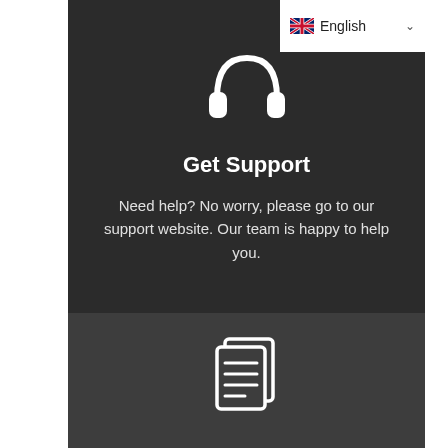[Figure (screenshot): English language selector with UK flag icon and dropdown arrow in top-right corner]
[Figure (illustration): White headphones icon centered in dark panel]
Get Support
Need help? No worry, please go to our support website. Our team is happy to help you.
[Figure (illustration): White documents/pages icon centered in darker bottom panel]